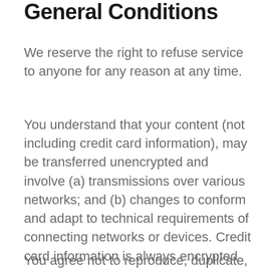General Conditions
We reserve the right to refuse service to anyone for any reason at any time.
You understand that your content (not including credit card information), may be transferred unencrypted and involve (a) transmissions over various networks; and (b) changes to conform and adapt to technical requirements of connecting networks or devices. Credit card information is always encrypted during transfer over networks.
You agree not to reproduce, duplicate, copy, sell, resell or exploit any portion of the Service...